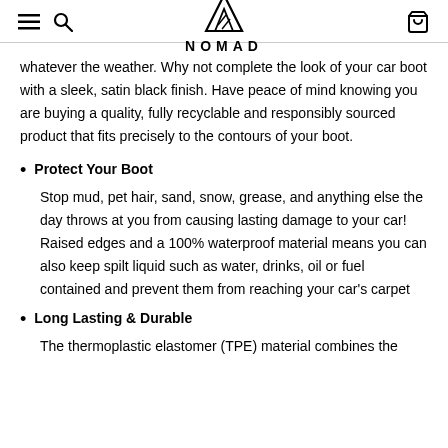NOMAD
whatever the weather. Why not complete the look of your car boot with a sleek, satin black finish. Have peace of mind knowing you are buying a quality, fully recyclable and responsibly sourced product that fits precisely to the contours of your boot.
Protect Your Boot
Stop mud, pet hair, sand, snow, grease, and anything else the day throws at you from causing lasting damage to your car! Raised edges and a 100% waterproof material means you can also keep spilt liquid such as water, drinks, oil or fuel contained and prevent them from reaching your car's carpet
Long Lasting & Durable
The thermoplastic elastomer (TPE) material combines the